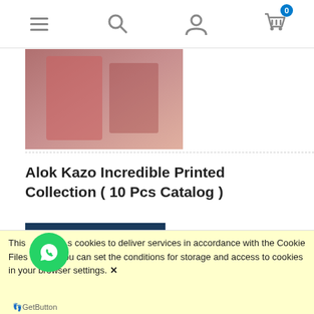Navigation bar with menu, search, account, and cart icons (cart has badge: 0)
[Figure (photo): Top product thumbnail showing a pink/rose ethnic Indian outfit]
Alok Kazo Incredible Printed Collection ( 10 Pcs Catalog )
[Figure (photo): Main product image of an embroidered off-white ethnic suit with dark dupatta, model posing against dark background with text AN ART WORK]
₹ 4,750.00
( 1 pcs = ₹ 475.00 )
excl. 5% TAX, excl. shipping costs
order now
This uses cookies to deliver services in accordance with the Cookie Files Policy. You can set the conditions for storage and access to cookies in your browser settings. ✕
[Figure (logo): WhatsApp green circle button]
GetButton